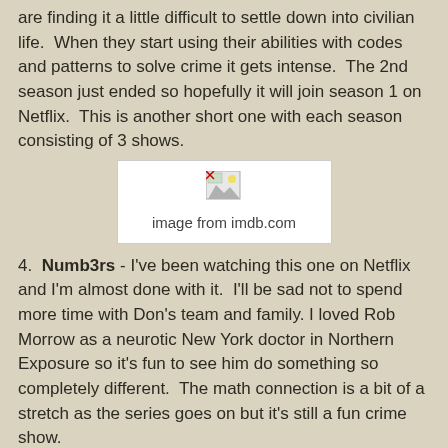are finding it a little difficult to settle down into civilian life. When they start using their abilities with codes and patterns to solve crime it gets intense. The 2nd season just ended so hopefully it will join season 1 on Netflix. This is another short one with each season consisting of 3 shows.
[Figure (other): Broken image placeholder with caption 'image from imdb.com']
4. Numb3rs - I've been watching this one on Netflix and I'm almost done with it. I'll be sad not to spend more time with Don's team and family. I loved Rob Morrow as a neurotic New York doctor in Northern Exposure so it's fun to see him do something so completely different. The math connection is a bit of a stretch as the series goes on but it's still a fun crime show.
5. CSI - I was not sold when I heard Ted Danson would be the new lead on CSI but I've really loved the way the show has gone. I love Morgan, Greg and Finn and the whole way the show has gone. Always a fun show to watch.